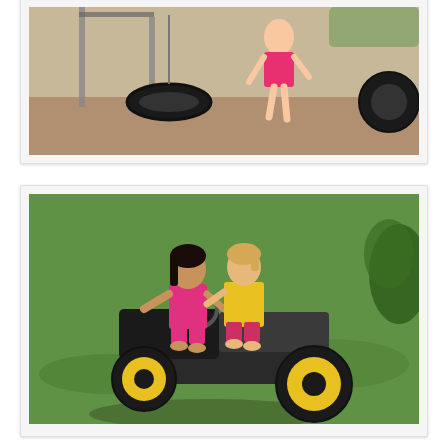[Figure (photo): Child in pink top playing near a tire swing on a playground, partially cropped at top of page]
[Figure (photo): Two young girls riding together on a toy John Deere ride-on tractor/ATV on a grassy lawn, both smiling]
GrandPop also joined us for a trip to ArtWorks, a favorite place for me in Montgomery and a place I really wanted to share with Maggie. It's in the Montgomery Museum of Fine Art, and is made for kids, so everything is touchable and fun. Heck, even at my age, I still enjoy it!